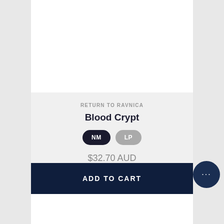RETURN TO RAVNICA
Blood Crypt
NM  LP
$32.70 AUD
ADD TO CART